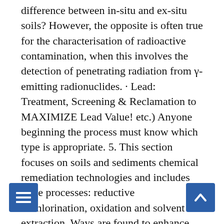difference between in-situ and ex-situ soils? However, the opposite is often true for the characterisation of radioactive contamination, when this involves the detection of penetrating radiation from γ-emitting radionuclides. · Lead: Treatment, Screening & Reclamation to MAXIMIZE Lead Value! etc.) Anyone beginning the process must know which type is appropriate. 5. This section focuses on soils and sediments chemical remediation technologies and includes three processes: reductive dechlorination, oxidation and solvent extraction. Ways are found to enhance the growth of whatever pollution-eating microbes might already be living at the contaminated site. This soil is formed when the parent rock is broken into small fragments. (adsbygoogle =